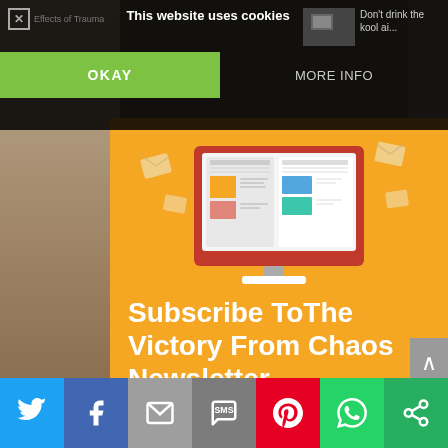This website uses cookies
Don't drink the kool ai...
Effects of Trauma
OKAY
MORE INFO
[Figure (illustration): Newsletter illustration showing a computer monitor with newspaper/documents and envelope icons flying around it on an orange background]
Subscribe ToThe Victory From Chaos Newsletter
Join our mailing list to receive the latest news and updates from our team.
[Figure (infographic): Social share bar with Twitter (blue), Facebook (dark blue), Email (grey), SMS (dark grey), Pinterest (red), WhatsApp (green), and another green share icon]